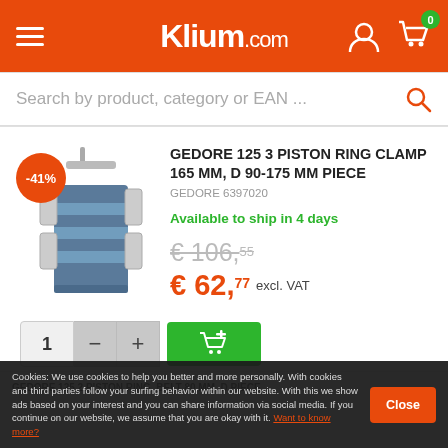Klium.com
Search by product, category or EAN ...
GEDORE 125 3 PISTON RING CLAMP 165 MM, D 90-175 MM PIECE
GEDORE 6397020
Available to ship in 4 days
€ 106,55
€ 62,77 excl. VAT
Select to compare
Cookies: We use cookies to help you better and more personally. With cookies and third parties follow your surfing behavior within our website. With this we show ads based on your interest and you can share information via social media. If you continue on our website, we assume that you are okay with it. Want to know more?